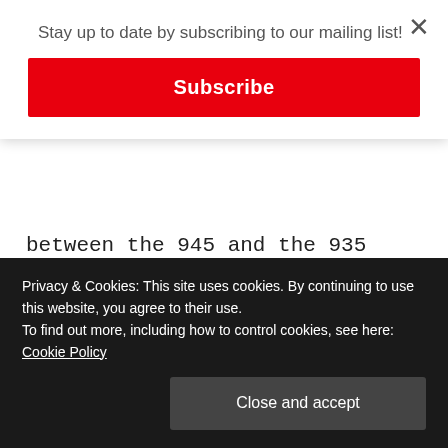Stay up to date by subscribing to our mailing list!
Subscribe
between the 945 and the 935 when it comes to the data fields for each activity.
Unlike some of the lower end Forerunner models, the Garmin 945 has the ability to create custom activities (this is the same as the 935). These can be created directly on the watch, or through the Connect mobile app. The full list of
Privacy & Cookies: This site uses cookies. By continuing to use this website, you agree to their use.
To find out more, including how to control cookies, see here: Cookie Policy
Close and accept